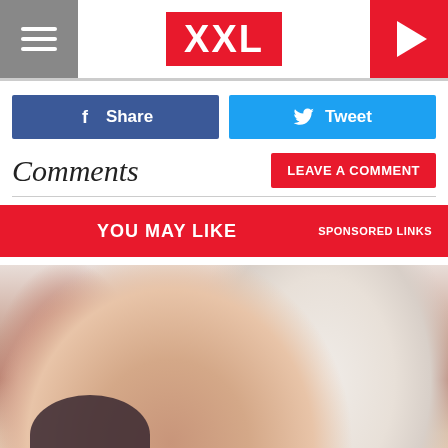XXL
Share
Tweet
Comments
LEAVE A COMMENT
YOU MAY LIKE   SPONSORED LINKS
[Figure (photo): Close-up photo of a pregnant woman's belly being held by two people]